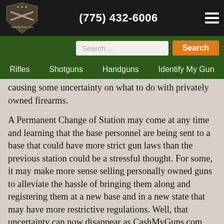[Figure (logo): CashMyGuns.com logo: a dark shield with crossed rifles and stars]
(775) 432-6006
Search ...
causing some uncertainty on what to do with privately owned firearms.
A Permanent Change of Station may come at any time and learning that the base personnel are being sent to a base that could have more strict gun laws than the previous station could be a stressful thought. For some, it may make more sense selling personally owned guns to alleviate the hassle of bringing them along and registering them at a new base and in a new state that may have more restrictive regulations. Well, that uncertainty can now disappear as CashMyGuns.com provides a quick and simple way to sell